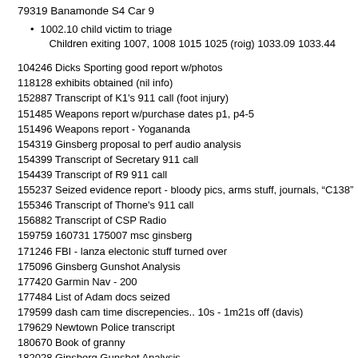79319 Banamonde S4 Car 9
1002.10 child victim to triage
Children exiting 1007, 1008 1015 1025 (roig) 1033.09 1033.44
104246 Dicks Sporting good report w/photos
118128 exhibits obtained (nil info)
152887 Transcript of K1's 911 call (foot injury)
151485 Weapons report w/purchase dates p1, p4-5
151496 Weapons report - Yogananda
154319 Ginsberg proposal to perf audio analysis
154399 Transcript of Secretary 911 call
154439 Transcript of R9  911 call
155237 Seized evidence report - bloody pics, arms stuff, journals, "C138"
155346 Transcript of Thorne's 911 call
156882 Transcript of CSP Radio
159759 160731 175007 msc ginsberg
171246 FBI - lanza electonic stuff turned over
175096 Ginsberg Gunshot Analysis
177420 Garmin Nav - 200
177484  List of Adam docs seized
179599 dash cam time discrepencies.. 10s - 1m21s off (davis)
179629 Newtown Police transcript
180670 Book of granny
182028 Ginsberg Gunshot Analysis